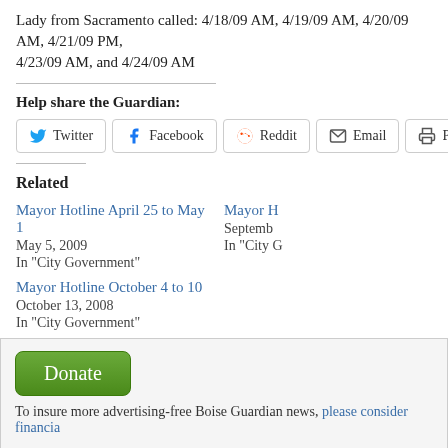Lady from Sacramento called: 4/18/09 AM, 4/19/09 AM, 4/20/09 AM, 4/21/09 PM, 4/23/09 AM, and 4/24/09 AM
Help share the Guardian:
Share buttons: Twitter, Facebook, Reddit, Email, Print
Related
Mayor Hotline April 25 to May 1
May 5, 2009
In "City Government"
Mayor Hotline October 4 to 10
October 13, 2008
In "City Government"
To insure more advertising-free Boise Guardian news, please consider financial...